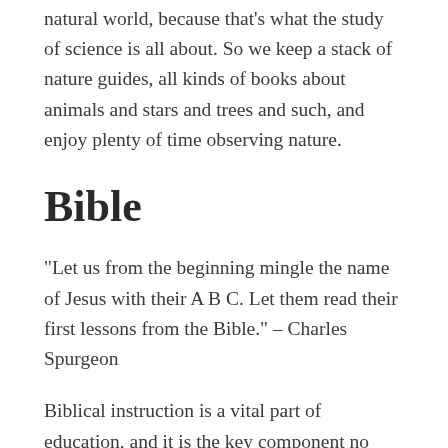natural world, because that's what the study of science is all about. So we keep a stack of nature guides, all kinds of books about animals and stars and trees and such, and enjoy plenty of time observing nature.
Bible
“Let us from the beginning mingle the name of Jesus with their A B C. Let them read their first lessons from the Bible.” – Charles Spurgeon
Biblical instruction is a vital part of education, and it is the key component no longer available in the public school setting. In the old days, every